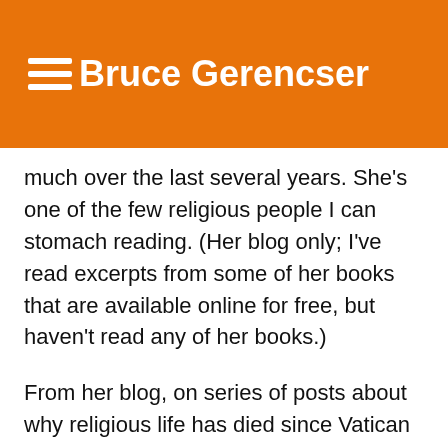Bruce Gerencser
much over the last several years. She's one of the few religious people I can stomach reading. (Her blog only; I've read excerpts from some of her books that are available online for free, but haven't read any of her books.)
From her blog, on series of posts about why religious life has died since Vatican II, she's got a wee tidbit that might shed some light on why Catholic priests prey on boys rather than girls. (I believe when